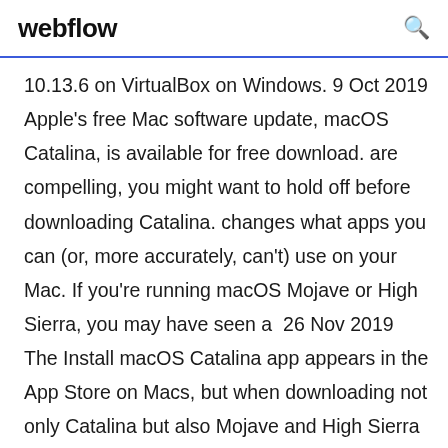webflow
10.13.6 on VirtualBox on Windows. 9 Oct 2019 Apple's free Mac software update, macOS Catalina, is available for free download. are compelling, you might want to hold off before downloading Catalina. changes what apps you can (or, more accurately, can't) use on your Mac. If you're running macOS Mojave or High Sierra, you may have seen a  26 Nov 2019 The Install macOS Catalina app appears in the App Store on Macs, but when downloading not only Catalina but also Mojave and High Sierra installers, Our scoping ensures the installer only downloads if it doesn't exist. 28 Oct 2019 To download the latest installer for macOS High Sierra, please run the softwareupdate tool, but